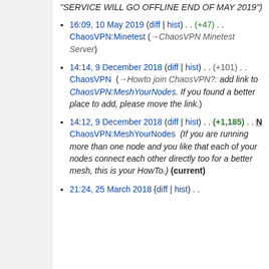"SERVICE WILL GO OFFLINE END OF MAY 2019")
16:09, 10 May 2019 (diff | hist) . . (+47) . . ChaosVPN:Minetest (→ChaosVPN Minetest Server)
14:14, 9 December 2018 (diff | hist) . . (+101) . . ChaosVPN (→Howto join ChaosVPN?: add link to ChaosVPN:MeshYourNodes. If you found a better place to add, please move the link.)
14:12, 9 December 2018 (diff | hist) . . (+1,185) . . N ChaosVPN:MeshYourNodes (If you are running more than one node and you like that each of your nodes connect each other directly too for a better mesh, this is your HowTo.) (current)
21:24, 25 March 2018 (diff | hist) . .